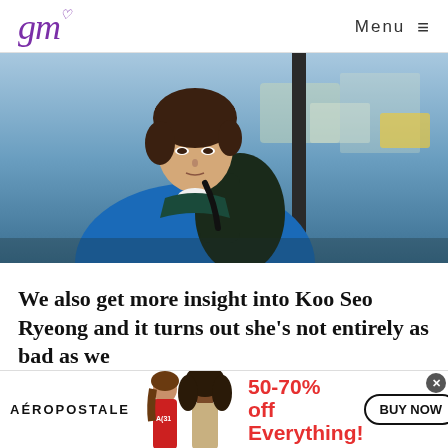gm [logo] Menu
[Figure (photo): A young Korean male actor wearing a blue hoodie and dark backpack, looking upward near a pole, with a blurred urban background.]
We also get more insight into Koo Seo Ryeong and it turns out she's not entirely as bad as we
[Figure (infographic): Aéropostale advertisement banner showing two young women models, text '50-70% off Everything!' in red, and a 'BUY NOW' button.]